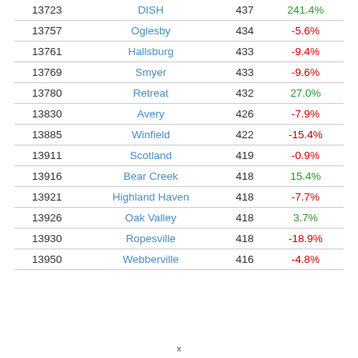|  |  |  |  |
| --- | --- | --- | --- |
| 13723 | DISH | 437 | 241.4% |
| 13757 | Oglesby | 434 | -5.6% |
| 13761 | Hallsburg | 433 | -9.4% |
| 13769 | Smyer | 433 | -9.6% |
| 13780 | Retreat | 432 | 27.0% |
| 13830 | Avery | 426 | -7.9% |
| 13885 | Winfield | 422 | -15.4% |
| 13911 | Scotland | 419 | -0.9% |
| 13916 | Bear Creek | 418 | 15.4% |
| 13921 | Highland Haven | 418 | -7.7% |
| 13926 | Oak Valley | 418 | 3.7% |
| 13930 | Ropesville | 418 | -18.9% |
| 13950 | Webberville | 416 | -4.8% |
x